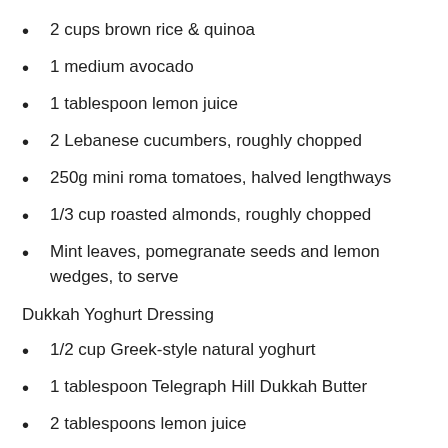2 cups brown rice & quinoa
1 medium avocado
1 tablespoon lemon juice
2 Lebanese cucumbers, roughly chopped
250g mini roma tomatoes, halved lengthways
1/3 cup roasted almonds, roughly chopped
Mint leaves, pomegranate seeds and lemon wedges, to serve
Dukkah Yoghurt Dressing
1/2 cup Greek-style natural yoghurt
1 tablespoon Telegraph Hill Dukkah Butter
2 tablespoons lemon juice
Method: